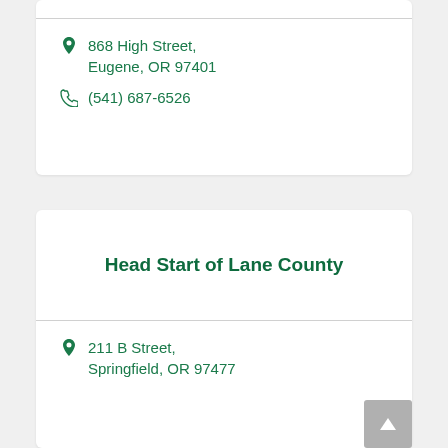868 High Street, Eugene, OR 97401
(541) 687-6526
Head Start of Lane County
211 B Street, Springfield, OR 97477